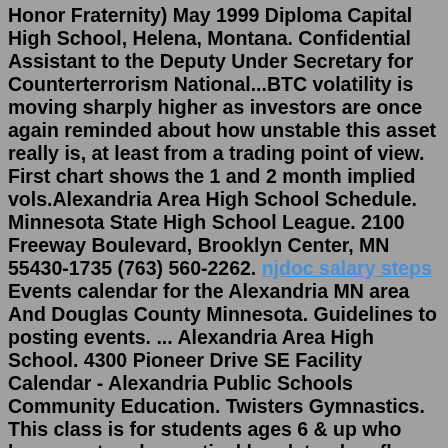Honor Fraternity) May 1999 Diploma Capital High School, Helena, Montana. Confidential Assistant to the Deputy Under Secretary for Counterterrorism National...BTC volatility is moving sharply higher as investors are once again reminded about how unstable this asset really is, at least from a trading point of view. First chart shows the 1 and 2 month implied vols.Alexandria Area High School Schedule. Minnesota State High School League. 2100 Freeway Boulevard, Brooklyn Center, MN 55430-1735 (763) 560-2262. njdoc salary steps Events calendar for the Alexandria MN area And Douglas County Minnesota. Guidelines to posting events. ... Alexandria Area High School. 4300 Pioneer Drive SE Facility Calendar - Alexandria Public Schools Community Education. Twisters Gymnastics. This class is for students ages 6 & up who have mastered: a vertical handstand on floor, levering cartwheel w/straight arms & legs, bridge kick-over w/straight legs on floor, round-off from panel mat, beginning back handspring shapes with spot, pull-over on ... Athletics. Grandville ranks